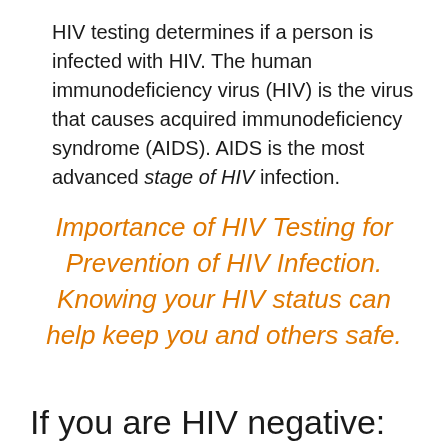HIV testing determines if a person is infected with HIV. The human immunodeficiency virus (HIV) is the virus that causes acquired immunodeficiency syndrome (AIDS). AIDS is the most advanced stage of HIV infection.
Importance of HIV Testing for Prevention of HIV Infection. Knowing your HIV status can help keep you and others safe.
If you are HIV negative: